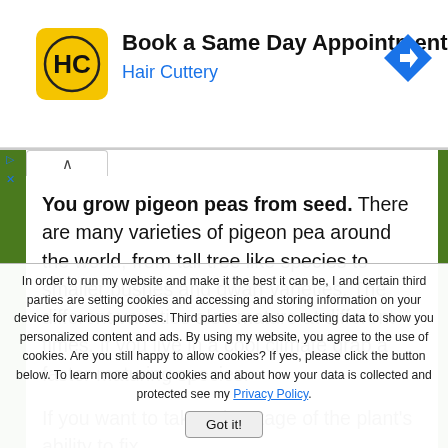[Figure (logo): Hair Cuttery HC logo on yellow rounded square background, with ad text 'Book a Same Day Appointment' and 'Hair Cuttery', and blue diamond navigation arrow icon on the right]
You grow pigeon peas from seed. There are many varieties of pigeon pea around the world, from tall tree like species to smaller bushes and dwarf varieties. The different varieties also mature at different times. If you live in a cool climate grab a faster maturing species.
If you want to take advantage of the plant's ability to fix
In order to run my website and make it the best it can be, I and certain third parties are setting cookies and accessing and storing information on your device for various purposes. Third parties are also collecting data to show you personalized content and ads. By using my website, you agree to the use of cookies. Are you still happy to allow cookies? If yes, please click the button below. To learn more about cookies and about how your data is collected and protected see my Privacy Policy.
Got it!